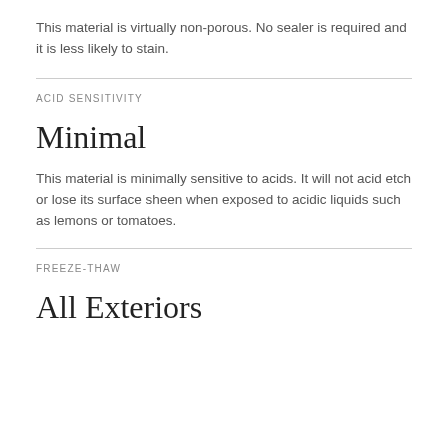This material is virtually non-porous. No sealer is required and it is less likely to stain.
ACID SENSITIVITY
Minimal
This material is minimally sensitive to acids. It will not acid etch or lose its surface sheen when exposed to acidic liquids such as lemons or tomatoes.
FREEZE-THAW
All Exteriors